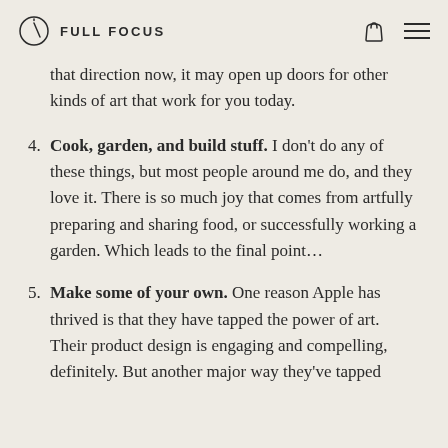FULL FOCUS
that direction now, it may open up doors for other kinds of art that work for you today.
4. Cook, garden, and build stuff. I don't do any of these things, but most people around me do, and they love it. There is so much joy that comes from artfully preparing and sharing food, or successfully working a garden. Which leads to the final point…
5. Make some of your own. One reason Apple has thrived is that they have tapped the power of art. Their product design is engaging and compelling, definitely. But another major way they've tapped